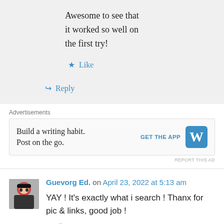Awesome to see that it worked so well on the first try!
★ Like
↪ Reply
Advertisements
[Figure (other): WordPress app advertisement: 'Build a writing habit. Post on the go.' with GET THE APP button and WordPress logo]
REPORT THIS AD
Guevorg Ed. on April 23, 2022 at 5:13 am
YAY ! It's exactly what i search ! Thanx for pic & links, good job !
★ Like